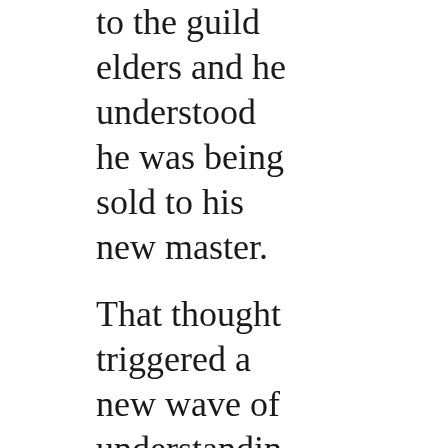to the guild elders and he understood he was being sold to his new master.

That thought triggered a new wave of understanding: the years that followed serving the Evergraves. His years of